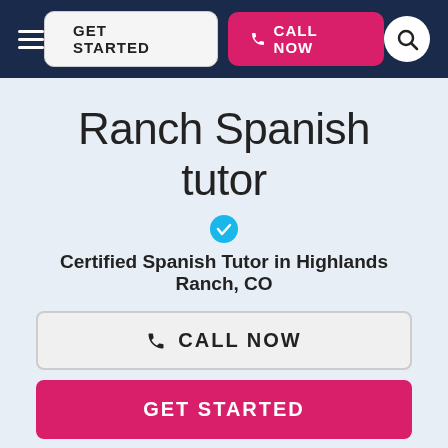GET STARTED  CALL NOW
Ranch Spanish tutor
Certified Spanish Tutor in Highlands Ranch, CO
CALL NOW
GET STARTED
…that enthusiasm with those that I teach. I believe in helping students not only understand the answer, but understand the process that allowed them to answer the question. I help students strengthen critical thinking and problem solving skills. This